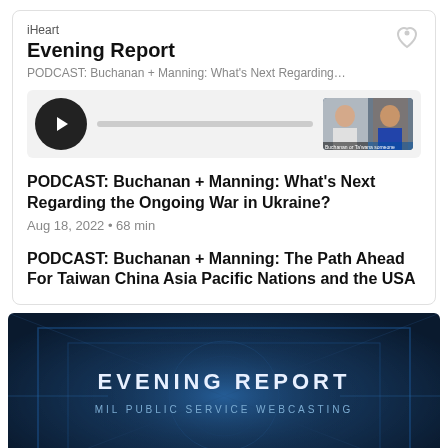iHeart
Evening Report
PODCAST: Buchanan + Manning: What's Next Regarding t...
[Figure (screenshot): Podcast player with play button, progress bar, and thumbnail of two men in video call]
PODCAST: Buchanan + Manning: What's Next Regarding the Ongoing War in Ukraine?
Aug 18, 2022 • 68 min
PODCAST: Buchanan + Manning: The Path Ahead For Taiwan China Asia Pacific Nations and the USA
[Figure (screenshot): Evening Report video title card with text 'EVENING REPORT' and 'MIL PUBLIC SERVICE WEBCASTING' on dark blue studio background]